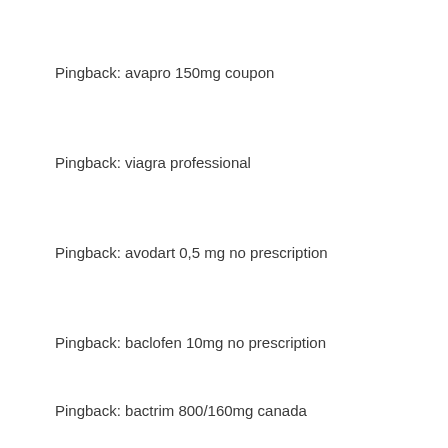Pingback: avapro 150mg coupon
Pingback: viagra professional
Pingback: avodart 0,5 mg no prescription
Pingback: baclofen 10mg no prescription
Pingback: bactrim 800/160mg canada